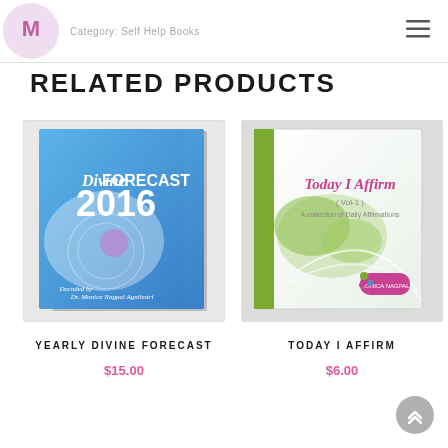Category: Self Help Books · DR. MONICA NAGPAL AGNIHOTRI
RELATED PRODUCTS
[Figure (photo): Book cover of 'Divine Forecast 2016' by Dr. Monica Nagpal Agnihotri, blue cover with cosmic imagery]
YEARLY DIVINE FORECAST
$15.00
[Figure (photo): Book cover of 'Today I Affirm (Vol-1): A collection of Daily Affirmations' by Monica Nagpal, white cover with green orchid]
TODAY I AFFIRM
$6.00